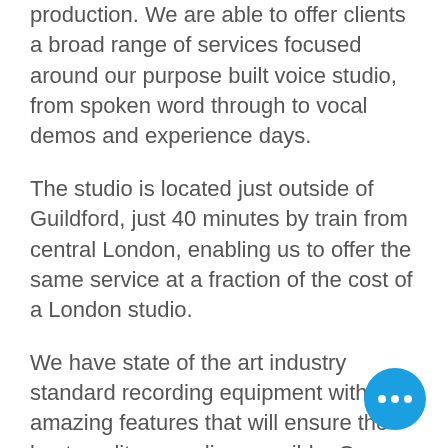production. We are able to offer clients a broad range of services focused around our purpose built voice studio, from spoken word through to vocal demos and experience days.
The studio is located just outside of Guildford, just 40 minutes by train from central London, enabling us to offer the same service at a fraction of the cost of a London studio.
We have state of the art industry standard recording equipment with amazing features that will ensure the best quality recording possible. Our professional engineers will help you every step of the way ensuring they get the best out of you!
Our experience days are proving very popular, offering vocalists the chance to...